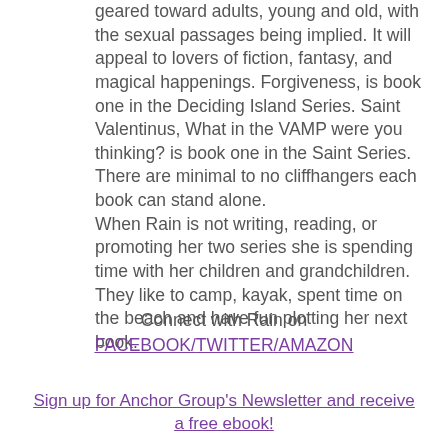geared toward adults, young and old, with the sexual passages being implied. It will appeal to lovers of fiction, fantasy, and magical happenings. Forgiveness, is book one in the Deciding Island Series. Saint Valentinus, What in the VAMP were you thinking? is book one in the Saint Series. There are minimal to no cliffhangers each book can stand alone.
When Rain is not writing, reading, or promoting her two series she is spending time with her children and grandchildren. They like to camp, kayak, spent time on the beach and have fun plotting her next book.
Connect with Rain on
FACEBOOK/TWITTER/AMAZON
Sign up for Anchor Group's Newsletter and receive a free ebook!